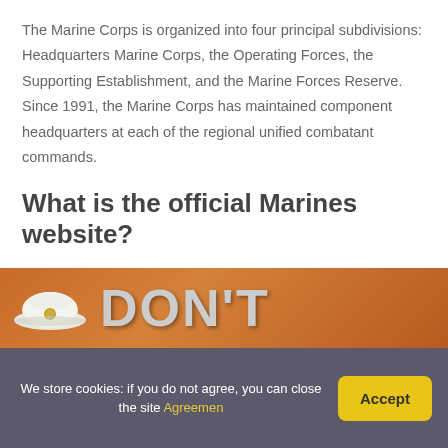The Marine Corps is organized into four principal subdivisions: Headquarters Marine Corps, the Operating Forces, the Supporting Establishment, and the Marine Forces Reserve. Since 1991, the Marine Corps has maintained component headquarters at each of the regional unified combatant commands.
What is the official Marines website?
Please visit our official homepage at www.marines.mil.
[Figure (photo): Partial image showing a white Marine Corps cover (hat) with gold eagle globe and anchor emblem, and large grey letters 'DON'T' on an orange-brown background]
We store cookies: if you do not agree, you can close the site Agreemen